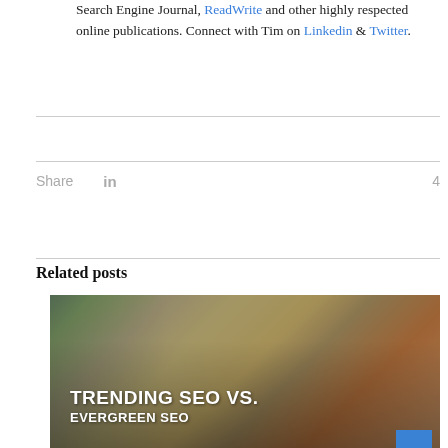Search Engine Journal, ReadWrite and other highly respected online publications. Connect with Tim on Linkedin & Twitter.
Share  in  4
Related posts
[Figure (photo): Photo of hands typing on a keyboard with a coffee cup and phone, overlaid with white bold text reading 'TRENDING SEO VS. EVERGREEN SEO']